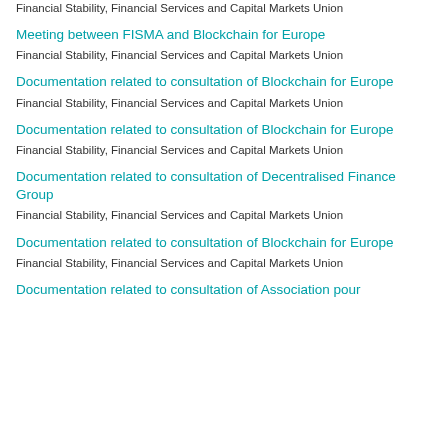Financial Stability, Financial Services and Capital Markets Union
Meeting between FISMA and Blockchain for Europe
Financial Stability, Financial Services and Capital Markets Union
Documentation related to consultation of Blockchain for Europe
Financial Stability, Financial Services and Capital Markets Union
Documentation related to consultation of Blockchain for Europe
Financial Stability, Financial Services and Capital Markets Union
Documentation related to consultation of Decentralised Finance Group
Financial Stability, Financial Services and Capital Markets Union
Documentation related to consultation of Blockchain for Europe
Financial Stability, Financial Services and Capital Markets Union
Documentation related to consultation of Association pour